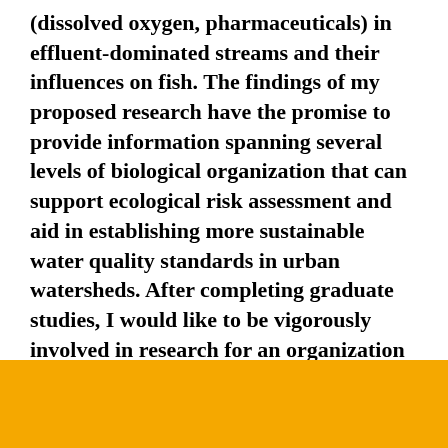(dissolved oxygen, pharmaceuticals) in effluent-dominated streams and their influences on fish. The findings of my proposed research have the promise to provide information spanning several levels of biological organization that can support ecological risk assessment and aid in establishing more sustainable water quality standards in urban watersheds. After completing graduate studies, I would like to be vigorously involved in research for an organization (e.g., academia or government) that strives for sustainability of natural resources and regulation of environmental contaminants that affect human and environmental health.